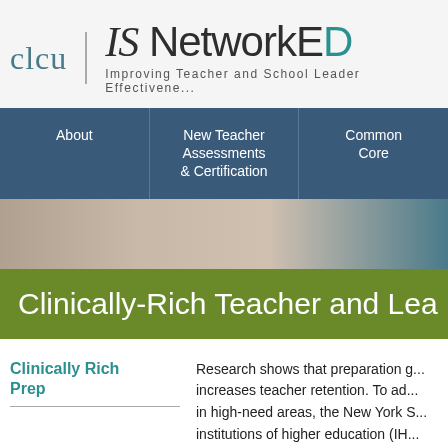[Figure (logo): CLCU IS NetworkED logo with subtitle 'Improving Teacher and School Leader Effectiveness']
About | New Teacher Assessments & Certification | Common Core
[Figure (photo): Blurred hero image of people in a school/professional setting]
Clinically-Rich Teacher and Lea...
Clinically Rich Prep
Research shows that preparation g... increases teacher retention. To ad... in high-need areas, the New York S... institutions of higher education (IH... offer pilot graduate-level clinically-...